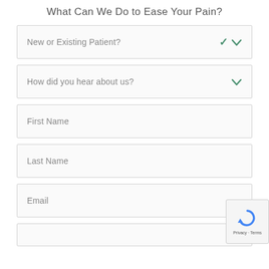What Can We Do to Ease Your Pain?
New or Existing Patient?
How did you hear about us?
First Name
Last Name
Email